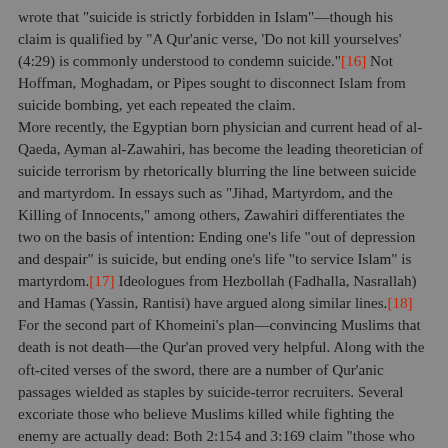wrote that "suicide is strictly forbidden in Islam"—though his claim is qualified by "A Qur'anic verse, 'Do not kill yourselves' (4:29) is commonly understood to condemn suicide."[16] Not Hoffman, Moghadam, or Pipes sought to disconnect Islam from suicide bombing, yet each repeated the claim.
More recently, the Egyptian born physician and current head of al-Qaeda, Ayman al-Zawahiri, has become the leading theoretician of suicide terrorism by rhetorically blurring the line between suicide and martyrdom. In essays such as "Jihad, Martyrdom, and the Killing of Innocents," among others, Zawahiri differentiates the two on the basis of intention: Ending one's life "out of depression and despair" is suicide, but ending one's life "to service Islam" is martyrdom.[17] Ideologues from Hezbollah (Fadhalla, Nasrallah) and Hamas (Yassin, Rantisi) have argued along similar lines.[18]
For the second part of Khomeini's plan—convincing Muslims that death is not death—the Qur'an proved very helpful. Along with the oft-cited verses of the sword, there are a number of Qur'anic passages wielded as staples by suicide-terror recruiters. Several excoriate those who believe Muslims killed while fighting the enemy are actually dead: Both 2:154 and 3:169 claim "those who are slain in the way of Allah ... are alive" and are provided "sustenance." Other passages elaborate on this promise, such as